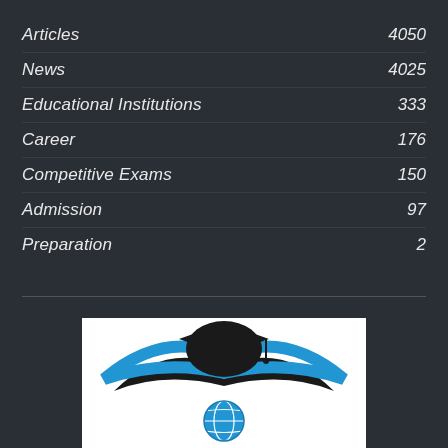Articles  4050
News  4025
Educational Institutions  333
Career  176
Competitive Exams  150
Admission  97
Preparation  2
[Figure (logo): Educational institution logo: graduation cap above open book wings with a globe below, black and blue color scheme, on white background]